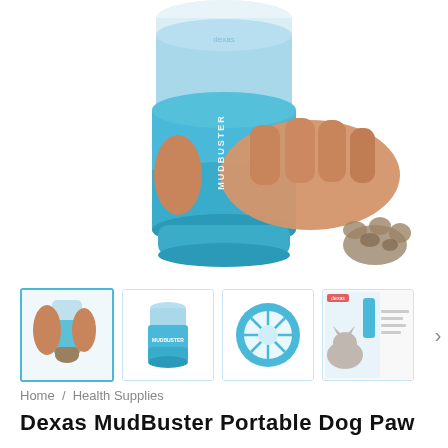[Figure (photo): Main product photo: a hand holding a blue cylindrical Dexas MudBuster dog paw cleaner with a dog's muddy paw visible at the bottom right. The cup is teal/blue with a darker blue grip band and a white top section.]
[Figure (photo): Thumbnail 1 (active/selected): showing a person inserting a dog's paw into the MudBuster cup, close-up view.]
[Figure (photo): Thumbnail 2: standalone blue MudBuster cup with 'MUDBUSTER' text on side.]
[Figure (photo): Thumbnail 3: top-down view of the MudBuster cup showing the silicone bristle interior.]
[Figure (photo): Thumbnail 4: product packaging/marketing image with a cat and product details.]
Home / Health Supplies
Dexas MudBuster Portable Dog Paw